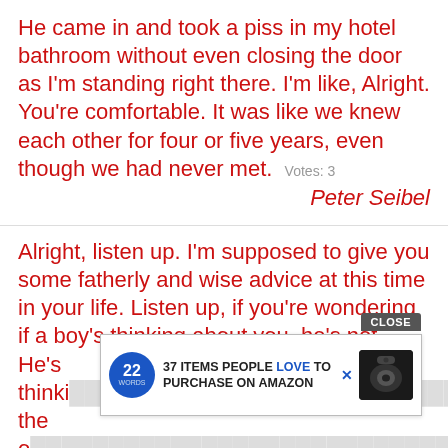He came in and took a piss in my hotel bathroom without even closing the door as I'm standing right there. I'm like, Alright. You're comfortable. It was like we knew each other for four or five years, even though we had never met. Votes: 3
Peter Seibel
Alright, listen up. I'm supposed to give you some fatherly and wise advice at this time in your life. Listen up, if you're wondering if a boy's thinking about you, he's not. He's thinki[ng about...] [you] are the o[nly one]
[Figure (screenshot): Advertisement overlay: CLOSE button, 22 Words logo, text '37 ITEMS PEOPLE LOVE TO PURCHASE ON AMAZON', and product image of wireless earbuds]
Eric Taylor